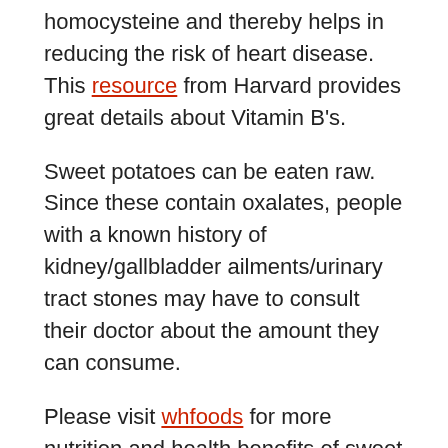homocysteine and thereby helps in reducing the risk of heart disease. This resource from Harvard provides great details about Vitamin B's.
Sweet potatoes can be eaten raw. Since these contain oxalates, people with a known history of kidney/gallbladder ailments/urinary tract stones may have to consult their doctor about the amount they can consume.
Please visit whfoods for more nutrition and health benefits of sweet potato.
How to make sweet potato yogurt dip recipe? Here it is. Quick and simple.